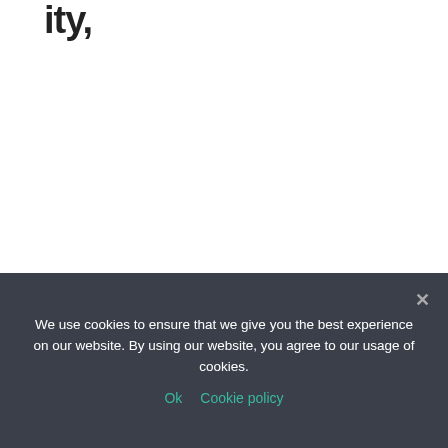ity,
Another reason to know your eCommerce finances inside and out is that you can leverage this data to
We use cookies to ensure that we give you the best experience on our website. By using our website, you agree to our usage of cookies.